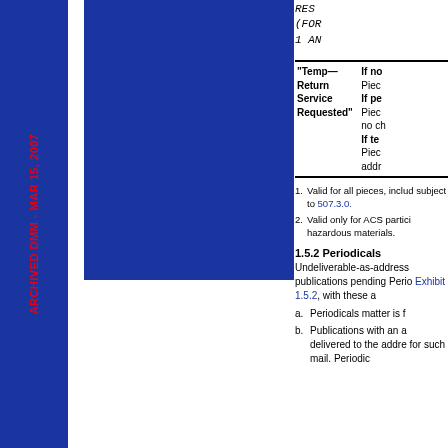RES (FOR 1 AN
| Endorsement | Action |
| --- | --- |
| "Temp—Return Service Requested" | If no...
Piec...
If pe...
Piec...
no ch...
If te...
Piec...
add... |
1. Valid for all pieces, includ... subject to 507.3.0.
2. Valid only for ACS partici... hazardous materials.
1.5.2 Periodicals
Undeliverable-as-address... publications pending Perio... Exhibit 1.5.2, with these a...
a. Periodicals matter is f...
b. Publications with an a... delivered to the addre... for such mail. Periodic... the...